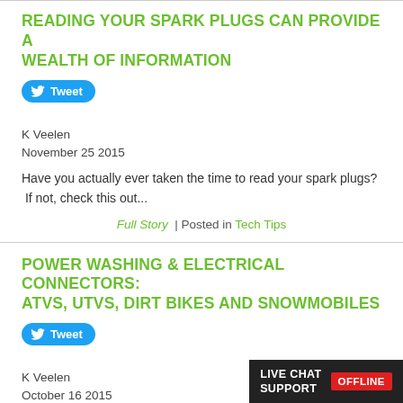READING YOUR SPARK PLUGS CAN PROVIDE A WEALTH OF INFORMATION
[Figure (other): Tweet button with Twitter bird icon]
K Veelen
November 25 2015
Have you actually ever taken the time to read your spark plugs? If not, check this out...
Full Story | Posted in Tech Tips
POWER WASHING & ELECTRICAL CONNECTORS: ATVS, UTVS, DIRT BIKES AND SNOWMOBILES
[Figure (other): Tweet button with Twitter bird icon]
K Veelen
October 16 2015
[Figure (other): Live Chat Support OFFLINE badge]